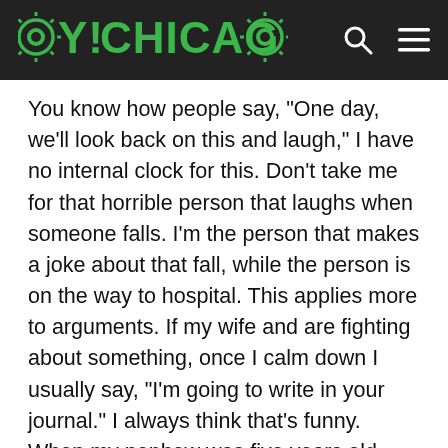OY!CHICAGO
You know how people say, “One day, we’ll look back on this and laugh,” I have no internal clock for this. Don’t take me for that horrible person that laughs when someone falls. I’m the person that makes a joke about that fall, while the person is on the way to hospital. This applies more to arguments. If my wife and are fighting about something, once I calm down I usually say, “I’m going to write in your journal.” I always think that’s funny. When my nephew was five years old (three years ago) he would get mad at someone and then threaten to write in their journal. My wife and I thought that was hilarious, so for a while we would say that to each other. I think jokes have no shelf life, so three